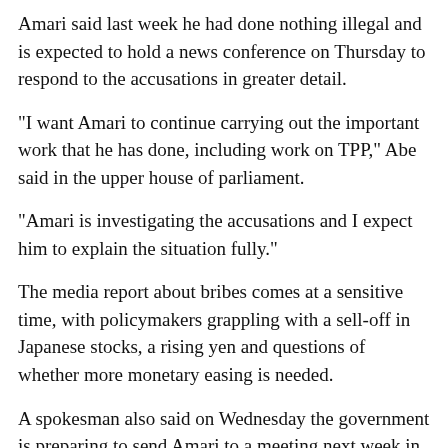Amari said last week he had done nothing illegal and is expected to hold a news conference on Thursday to respond to the accusations in greater detail.
"I want Amari to continue carrying out the important work that he has done, including work on TPP," Abe said in the upper house of parliament.
"Amari is investigating the accusations and I expect him to explain the situation fully."
The media report about bribes comes at a sensitive time, with policymakers grappling with a sell-off in Japanese stocks, a rising yen and questions of whether more monetary easing is needed.
A spokesman also said on Wednesday the government is preparing to send Amari to a meeting next week in New Zealand on the Trans-Pacific Partnership (TPP) free trade bloc, in another sign the government wants to keep Amari in the cabinet.
Amari has played a crucial role in crafting Abe's stimulus policies, dubbed "Abenomics," and in